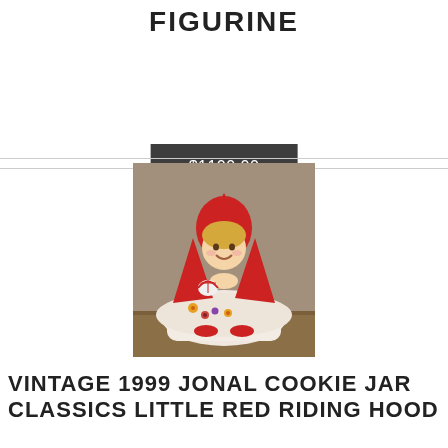FIGURINE
$1100.00
[Figure (photo): A vintage ceramic Little Red Riding Hood cookie jar figurine. The figurine depicts a smiling girl with blonde hair wearing a red hooded cape and a white dress decorated with colorful flowers. She holds a small basket. The figurine is photographed against a neutral burlap background on a wooden surface.]
VINTAGE 1999 JONAL COOKIE JAR CLASSICS LITTLE RED RIDING HOOD